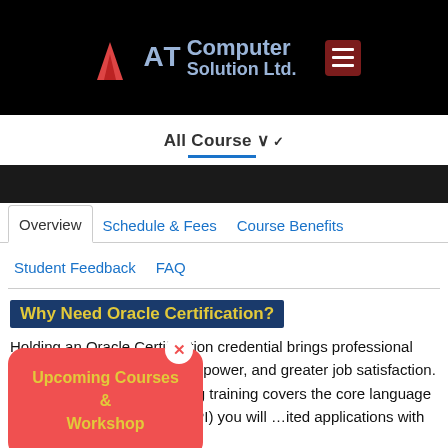AT Computer Solution Ltd.
All Course
Overview  Schedule & Fees  Course Benefits  Student Feedback  FAQ
Why Need Oracle Certification?
Holding an Oracle Certification credential brings professional credibility, increased earning power, and greater job satisfaction. This Java SE 8 Programming training covers the core language … Programming Interfaces (API) you will … ited applications with Java Standard … form.
[Figure (infographic): Red popup overlay showing 'Upcoming Courses & Workshop' text with a close button (X)]